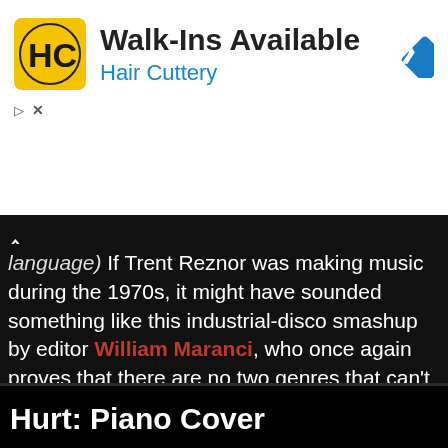[Figure (screenshot): Hair Cuttery advertisement banner with yellow logo, 'Walk-Ins Available' title, and blue 'Hair Cuttery' subtitle with a blue diamond navigation arrow icon]
language) If Trent Reznor was making music during the 1970s, it might have sounded something like this industrial-disco smashup by editor William Maranci, who once again proves that there are no two genres that can't be combined as Lipps, Inc's Funkytown and Nine Inch Nails Closer become one.
Check It Out >
Hurt: Piano Cover